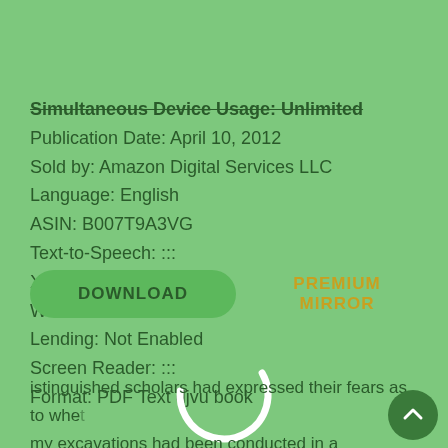Simultaneous Device Usage: Unlimited
Publication Date: April 10, 2012
Sold by: Amazon Digital Services LLC
Language: English
ASIN: B007T9A3VG
Text-to-Speech: :::
X-Ray:
Word Wise: Enabled
Lending: Not Enabled
Screen Reader: :::
Format: PDF Text djvu book
[Figure (other): Loading spinner circle (partial arc) centered on page]
DOWNLOAD
PREMIUM MIRROR
istinguished scholars had expressed their fears as to whe my excavations had been conducted in a systematic man whether the ruins had been left in a suitable condition for